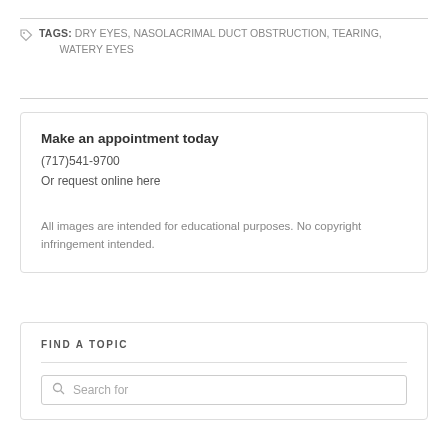TAGS: DRY EYES, NASOLACRIMAL DUCT OBSTRUCTION, TEARING, WATERY EYES
Make an appointment today
(717)541-9700
Or request online here
All images are intended for educational purposes. No copyright infringement intended.
FIND A TOPIC